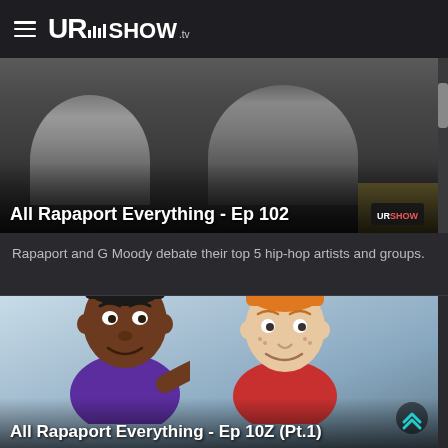UR SHOW .tv
[Figure (screenshot): Video thumbnail showing two people seated on a couch with text overlay 'All Rapaport Everything - Ep 102' and URShow logo]
All Rapaport Everything - Ep 102
Rapaport and G Moody debate their top 5 hip-hop artists and groups.
[Figure (screenshot): Video thumbnail showing animated cartoon characters - one with dark skin in purple shirt, one with light skin and orange hair in red shirt. Title: All Rapaport Everything - Ep 10Z (Pt.1)]
All Rapaport Everything - Ep 10Z (Pt.1)